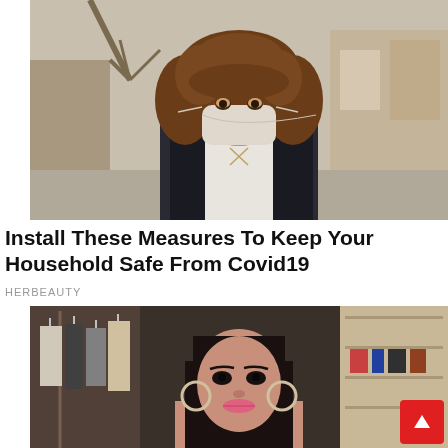[Figure (photo): Woman with curly hair wearing a white face mask, standing outdoors on a street with blurred buildings in the background. Wearing a black jacket over a white top.]
Install These Measures To Keep Your Household Safe From Covid19
HERBEAUTY
[Figure (photo): Young woman with long straight dark hair, wearing large hoop earrings, standing in what appears to be a clothing store with garments on racks in the background.]